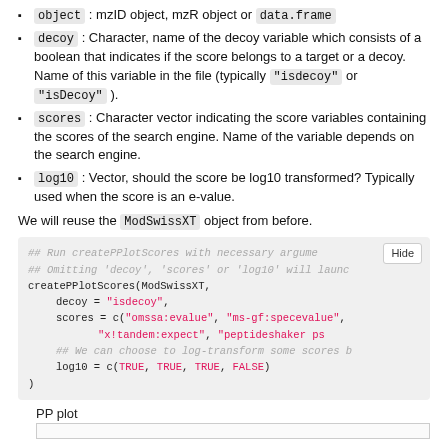object : mzID object, mzR object or data.frame
decoy : Character, name of the decoy variable which consists of a boolean that indicates if the score belongs to a target or a decoy. Name of this variable in the file (typically "isdecoy" or "isDecoy" ).
scores : Character vector indicating the score variables containing the scores of the search engine. Name of the variable depends on the search engine.
log10 : Vector, should the score be log10 transformed? Typically used when the score is an e-value.
We will reuse the ModSwissXT object from before.
[Figure (screenshot): Code block showing createPPlotScores function call with arguments: decoy = 'isdecoy', scores = c('omssa:evalue', 'ms-gf:specevalue', 'x!tandem:expect', 'peptideshaker ps...'), log10 = c(TRUE, TRUE, TRUE, FALSE). Comments indicate running createPPlotScores with necessary arguments and omitting decoy/scores/log10 will launch a dialog. A 'Hide' button is shown in the top right.]
PP plot